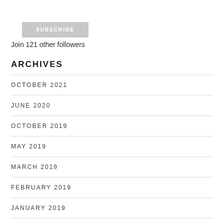SUBSCRIBE
Join 121 other followers
ARCHIVES
OCTOBER 2021
JUNE 2020
OCTOBER 2019
MAY 2019
MARCH 2019
FEBRUARY 2019
JANUARY 2019